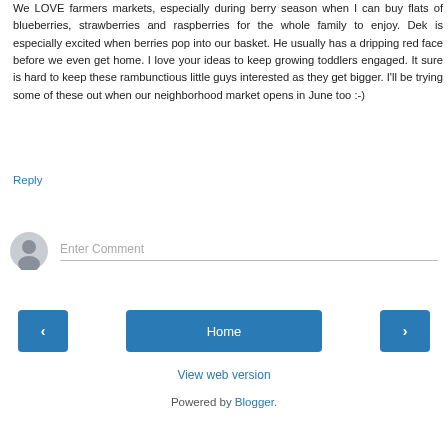We LOVE farmers markets, especially during berry season when I can buy flats of blueberries, strawberries and raspberries for the whole family to enjoy. Dek is especially excited when berries pop into our basket. He usually has a dripping red face before we even get home. I love your ideas to keep growing toddlers engaged. It sure is hard to keep these rambunctious little guys interested as they get bigger. I'll be trying some of these out when our neighborhood market opens in June too :-)
Reply
[Figure (other): User avatar icon — grey silhouette of a person in a circular frame]
Enter Comment
‹
Home
›
View web version
Powered by Blogger.